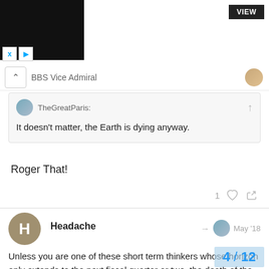[Figure (screenshot): Top banner advertisement area with black rectangle, VIEW button, and media control icons]
BBS Vice Admiral
TheGreatParis:
It doesn't matter, the Earth is dying anyway.
Roger That!
1
Headache  May '18
Unless you are one of these short term thinkers whose horizon only extends to the next fiscal quarter or two, the death of the Earth is pretty much guaranteed when our Sun goes supernova.
4 / 12